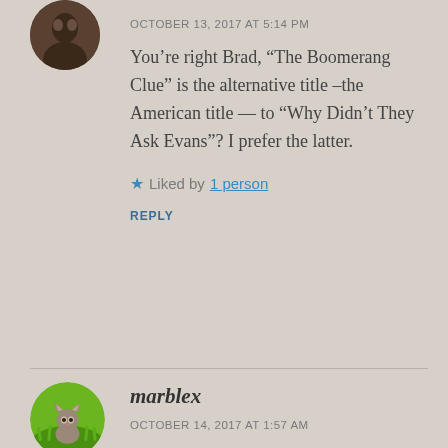[Figure (photo): Circular avatar photo of a person, dark tones]
OCTOBER 13, 2017 AT 5:14 PM
You’re right Brad, “The Boomerang Clue” is the alternative title –the American title — to “Why Didn’t They Ask Evans”? I prefer the latter.
★ Liked by 1 person
REPLY
[Figure (photo): Circular avatar photo of a kitten on green grass]
marblex
OCTOBER 14, 2017 AT 1:57 AM
Yes, you are correct! The Boomerang